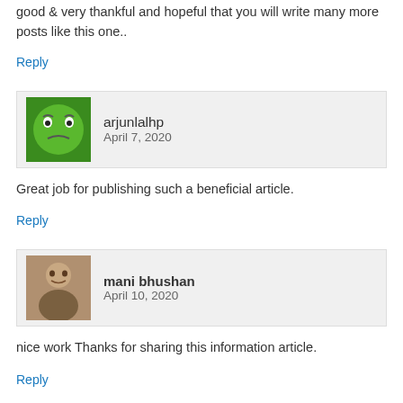good & very thankful and hopeful that you will write many more posts like this one..
Reply
arjunlalhp
April 7, 2020
Great job for publishing such a beneficial article.
Reply
mani bhushan
April 10, 2020
nice work Thanks for sharing this information article.
Reply
Mr Charan
April 18, 2020
Such a great information sir thanks a lot